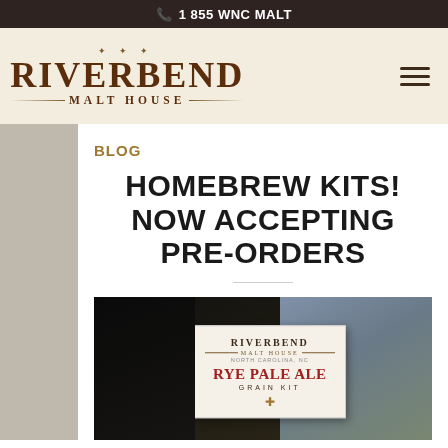📞 1 855 WNC MALT
[Figure (logo): Riverbend Malt House logo with decorative serif typography and ornamental lines]
BLOG
HOMEBREW KITS! NOW ACCEPTING PRE-ORDERS
[Figure (photo): Photo of Riverbend Malt House Rye Pale Ale Grain Kit packaging with a white label on dark background]